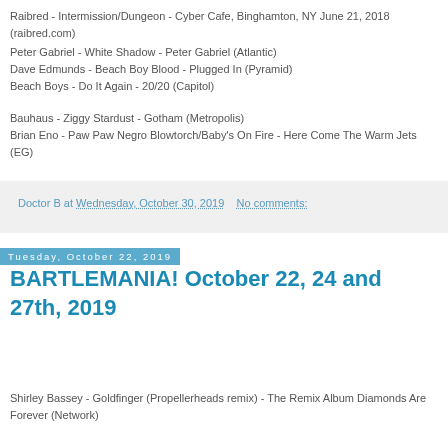Raibred - Intermission/Dungeon - Cyber Cafe, Binghamton, NY June 21, 2018 (raibred.com)
Peter Gabriel - White Shadow - Peter Gabriel (Atlantic)
Dave Edmunds - Beach Boy Blood - Plugged In (Pyramid)
Beach Boys - Do It Again - 20/20 (Capitol)
Bauhaus - Ziggy Stardust - Gotham (Metropolis)
Brian Eno - Paw Paw Negro Blowtorch/Baby's On Fire - Here Come The Warm Jets (EG)
Doctor B at Wednesday, October 30, 2019    No comments:
Tuesday, October 22, 2019
BARTLEMANIA! October 22, 24 and 27th, 2019
Shirley Bassey - Goldfinger (Propellerheads remix) - The Remix Album Diamonds Are Forever (Network)